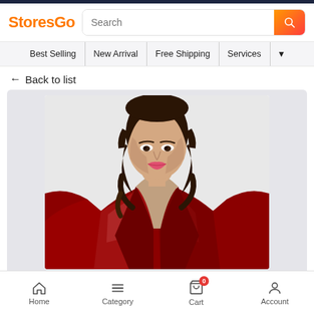StoresGo
[Figure (screenshot): Navigation bar with Best Selling, New Arrival, Free Shipping, Services menu items]
← Back to list
[Figure (photo): Woman wearing a red satin robe, showing upper body and face with dark curly hair]
Home  Category  Cart 0  Account